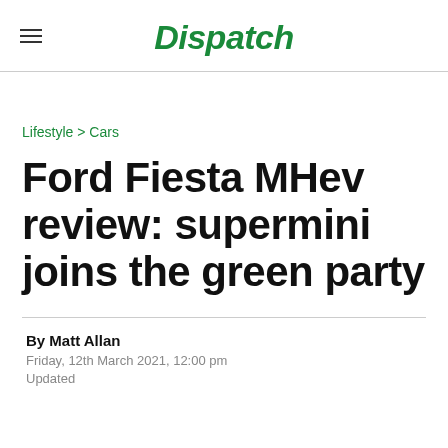Dispatch
Lifestyle > Cars
Ford Fiesta MHev review: supermini joins the green party
By Matt Allan
Friday, 12th March 2021, 12:00 pm
Updated